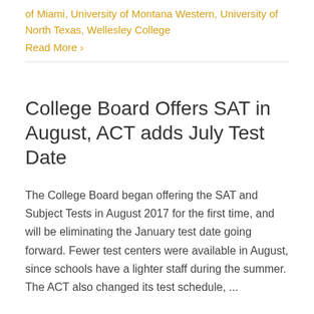of Miami, University of Montana Western, University of North Texas, Wellesley College
Read More ›
College Board Offers SAT in August, ACT adds July Test Date
The College Board began offering the SAT and Subject Tests in August 2017 for the first time, and will be eliminating the January test date going forward. Fewer test centers were available in August, since schools have a lighter staff during the summer. The ACT also changed its test schedule, ...